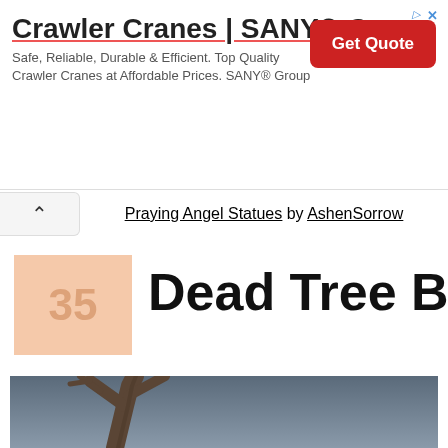[Figure (other): Advertisement banner for Crawler Cranes SANY Group with Get Quote button]
Praying Angel Statues by AshenSorrow
Dead Tree BG
[Figure (photo): Photo of a dead tree with bare branches against a cloudy grey sky]